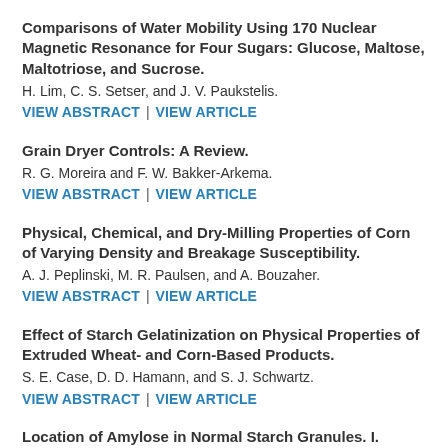Comparisons of Water Mobility Using 170 Nuclear Magnetic Resonance for Four Sugars: Glucose, Maltose, Maltotriose, and Sucrose.
H. Lim, C. S. Setser, and J. V. Paukstelis.
VIEW ABSTRACT | VIEW ARTICLE
Grain Dryer Controls: A Review.
R. G. Moreira and F. W. Bakker-Arkema.
VIEW ABSTRACT | VIEW ARTICLE
Physical, Chemical, and Dry-Milling Properties of Corn of Varying Density and Breakage Susceptibility.
A. J. Peplinski, M. R. Paulsen, and A. Bouzaher.
VIEW ABSTRACT | VIEW ARTICLE
Effect of Starch Gelatinization on Physical Properties of Extruded Wheat- and Corn-Based Products.
S. E. Case, D. D. Hamann, and S. J. Schwartz.
VIEW ABSTRACT | VIEW ARTICLE
Location of Amylose in Normal Starch Granules. I.